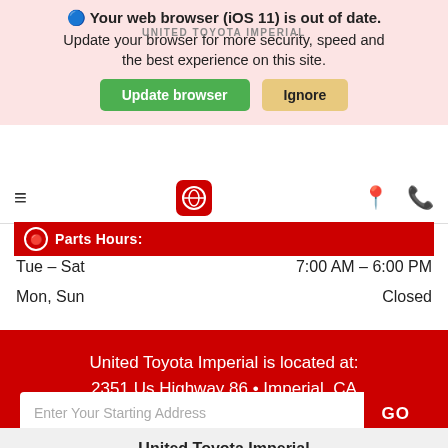[Figure (screenshot): Browser update warning banner with pink background. Text: 'Your web browser (iOS 11) is out of date. Update your browser for more security, speed and the best experience on this site.' Buttons: 'Update browser' (green) and 'Ignore' (tan).]
[Figure (screenshot): Website navigation bar with hamburger menu, Toyota logo (red square), location pin icon, and phone icon.]
Parts Hours:
Tue - Sat	7:00 AM - 6:00 PM
Mon, Sun	Closed
United Toyota Imperial is located at:
2351 Us Highway 86 • Imperial, CA 92251
[Figure (screenshot): Address input field with placeholder 'Enter Your Starting Address' and a GO button on a red background.]
United Toyota Imperial